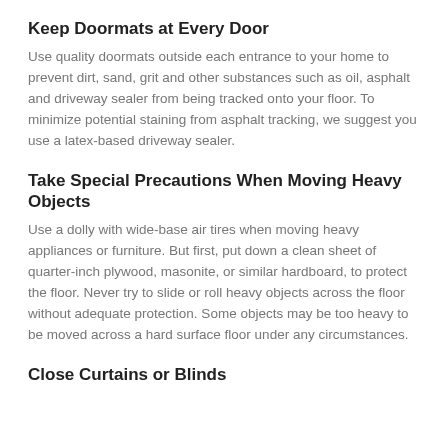Keep Doormats at Every Door
Use quality doormats outside each entrance to your home to prevent dirt, sand, grit and other substances such as oil, asphalt and driveway sealer from being tracked onto your floor. To minimize potential staining from asphalt tracking, we suggest you use a latex-based driveway sealer.
Take Special Precautions When Moving Heavy Objects
Use a dolly with wide-base air tires when moving heavy appliances or furniture. But first, put down a clean sheet of quarter-inch plywood, masonite, or similar hardboard, to protect the floor. Never try to slide or roll heavy objects across the floor without adequate protection. Some objects may be too heavy to be moved across a hard surface floor under any circumstances.
Close Curtains or Blinds